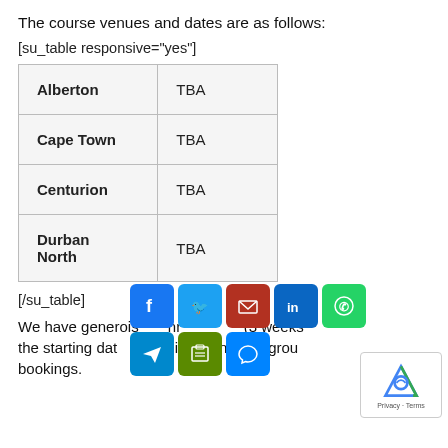The course venues and dates are as follows:
[su_table responsive="yes"]
| Alberton | TBA |
| Cape Town | TBA |
| Centurion | TBA |
| Durban North | TBA |
[/su_table]
We have generously discounted our (3 weeks before the starting date) as single registrations and group bookings.